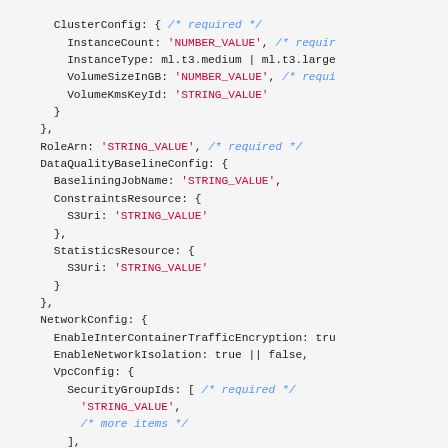Code snippet showing AWS SDK API configuration object with ClusterConfig, RoleArn, DataQualityBaselineConfig, and NetworkConfig fields